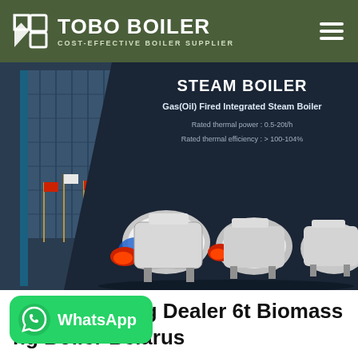TOBO BOILER — COST-EFFECTIVE BOILER SUPPLIER
[Figure (screenshot): Hero banner showing industrial steam boilers on dark background with building on left side. Text overlay reads: STEAM BOILER, Gas(Oil) Fired Integrated Steam Boiler, Rated thermal power: 0.5-20t/h, Rated thermal efficiency: >100-104%]
Energy Saving Dealer 6t Biomass ng Boiler Belarus
[Figure (logo): WhatsApp contact button in green with phone/chat icon and WhatsApp text]